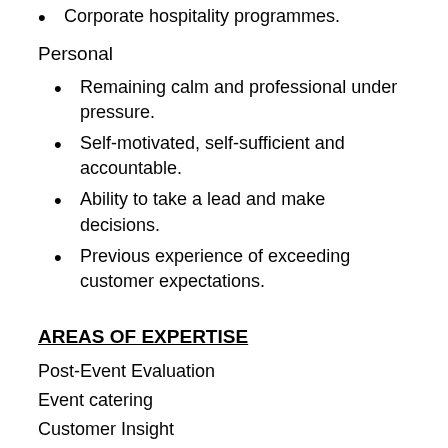Corporate hospitality programmes.
Personal
Remaining calm and professional under pressure.
Self-motivated, self-sufficient and accountable.
Ability to take a lead and make decisions.
Previous experience of exceeding customer expectations.
AREAS OF EXPERTISE
Post-Event Evaluation
Event catering
Customer Insight
People Management